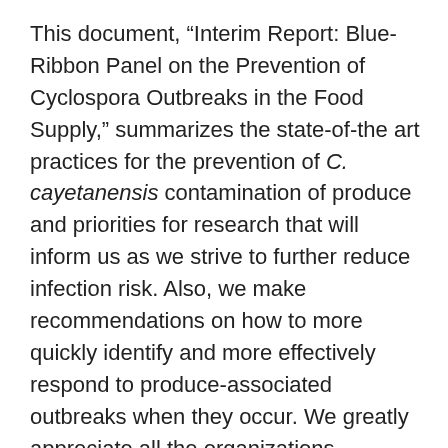This document, “Interim Report: Blue-Ribbon Panel on the Prevention of Cyclospora Outbreaks in the Food Supply,” summarizes the state-of-the art practices for the prevention of C. cayetanensis contamination of produce and priorities for research that will inform us as we strive to further reduce infection risk. Also, we make recommendations on how to more quickly identify and more effectively respond to produce-associated outbreaks when they occur. We greatly appreciate all the organizations represented on the panel and the expert consultants. The report does not, however, represent the official policy or recommendations of any other private, academic, trade association or federal or state government agency. Fresh Express has committed to continuing the Blue-Ribbon Panel process for as long as it can provide